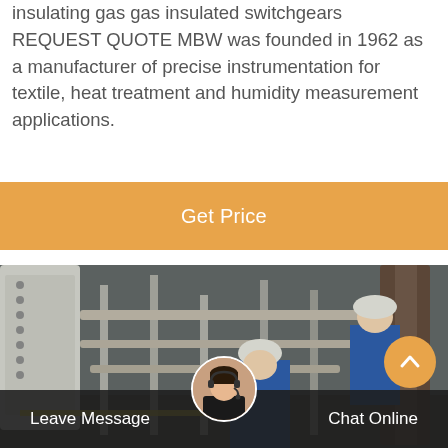insulating gas gas insulated switchgears REQUEST QUOTE MBW was founded in 1962 as a manufacturer of precise instrumentation for textile, heat treatment and humidity measurement applications.
Get Price
[Figure (photo): Industrial facility interior showing workers in blue uniforms and white hard hats working with pipes, tubes, and mechanical equipment in a plant environment.]
Leave Message
Chat Online